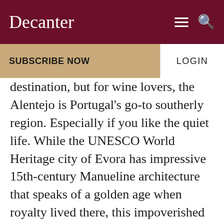Decanter
SUBSCRIBE NOW
LOGIN
destination, but for wine lovers, the Alentejo is Portugal's go-to southerly region. Especially if you like the quiet life. While the UNESCO World Heritage city of Evora has impressive 15th-century Manueline architecture that speaks of a golden age when royalty lived there, this impoverished agricultural region – one third of Portugal – is today its least populated. Its expansive landscape and unspoiled Atlantic coastline is a broad canvas which, because of its star-gazing-friendly lack of light pollution, is